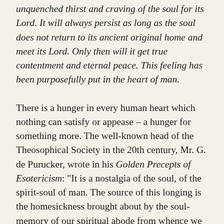unquenched thirst and craving of the soul for its Lord. It will always persist as long as the soul does not return to its ancient original home and meet its Lord. Only then will it get true contentment and eternal peace. This feeling has been purposefully put in the heart of man.
There is a hunger in every human heart which nothing can satisfy or appease – a hunger for something more. The well-known head of the Theosophical Society in the 20th century, Mr. G. de Purucker, wrote in his Golden Precepts of Esotericism: “It is a nostalgia of the soul, of the spirit-soul of man. The source of this longing is the homesickness brought about by the soul-memory of our spiritual abode from whence we came and towards that which we are now on our return